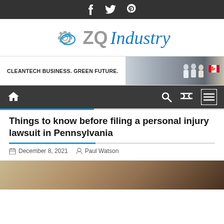Social icons bar: Facebook, Twitter, Pinterest
[Figure (logo): ZQ Industry logo with gear and globe icon]
[Figure (photo): Banner advertisement: CLEANTECH BUSINESS. GREEN FUTURE. with people in lab coats and Canadian flag, Cleantech Connect and Trent University logos]
[Figure (other): Navigation bar with home icon, search icon, shuffle icon, and menu icon]
Things to know before filing a personal injury lawsuit in Pennsylvania
December 8, 2021   Paul Watson
[Figure (photo): Article header image showing legal/law themed photo (pen, papers, gavel)]